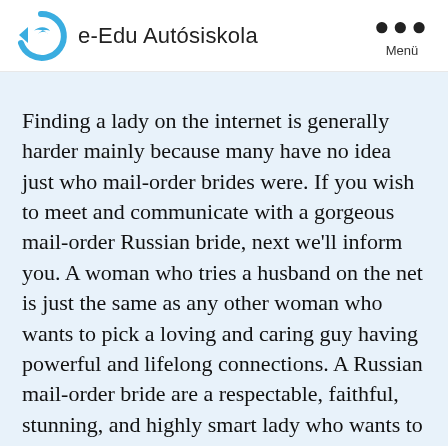e-Edu Autósiskola
Finding a lady on the internet is generally harder mainly because many have no idea just who mail-order brides were. If you wish to meet and communicate with a gorgeous mail-order Russian bride, next we'll inform you. A woman who tries a husband on the net is just the same as any other woman who wants to pick a loving and caring guy having powerful and lifelong connections. A Russian mail-order bride are a respectable, faithful, stunning, and highly smart lady who wants to pick their adore in a few additional country, which all!